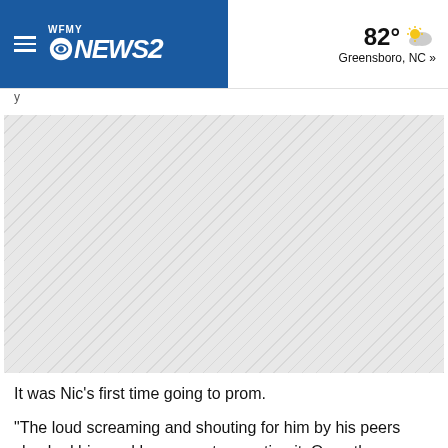WFMY NEWS2 | 82° Greensboro, NC »
[Figure (photo): Video/image placeholder with diagonal hatching pattern representing a news story image]
It was Nic's first time going to prom.
"The loud screaming and shouting for him by his peers shocked him and he was not expecting it. Once the cheering died down he was back to dancing and taking pictures with everyone."